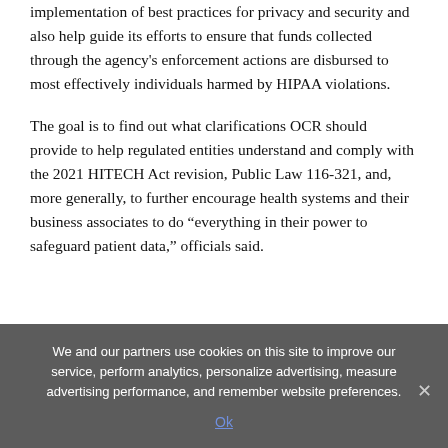implementation of best practices for privacy and security and also help guide its efforts to ensure that funds collected through the agency's enforcement actions are disbursed to most effectively individuals harmed by HIPAA violations.
The goal is to find out what clarifications OCR should provide to help regulated entities understand and comply with the 2021 HITECH Act revision, Public Law 116-321, and, more generally, to further encourage health systems and their business associates to do “everything in their power to safeguard patient data,” officials said.
We and our partners use cookies on this site to improve our service, perform analytics, personalize advertising, measure advertising performance, and remember website preferences.
Ok